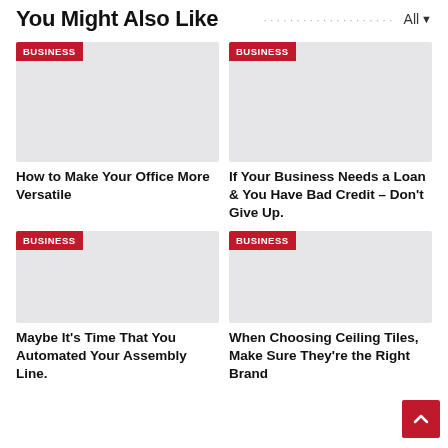You Might Also Like
[Figure (other): Placeholder image for article: How to Make Your Office More Versatile, tagged BUSINESS]
How to Make Your Office More Versatile
[Figure (other): Placeholder image for article: If Your Business Needs a Loan & You Have Bad Credit – Don't Give Up., tagged BUSINESS]
If Your Business Needs a Loan & You Have Bad Credit – Don't Give Up.
[Figure (other): Placeholder image for article: Maybe It's Time That You Automated Your Assembly Line., tagged BUSINESS]
Maybe It's Time That You Automated Your Assembly Line.
[Figure (other): Placeholder image for article: When Choosing Ceiling Tiles, Make Sure They're the Right Brand, tagged BUSINESS]
When Choosing Ceiling Tiles, Make Sure They're the Right Brand